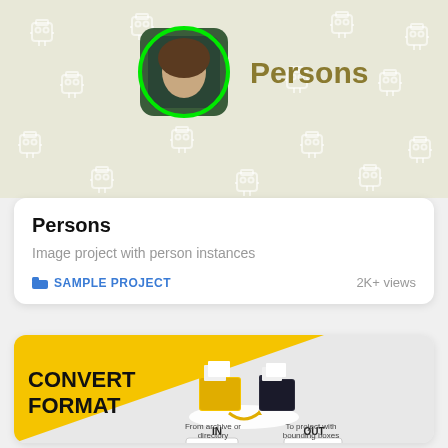[Figure (screenshot): Top banner with beige/tan background showing repeated robot/camera watermark icons, a person profile photo with green circle overlay, and 'Persons' text in olive/gold color]
Persons
Image project with person instances
SAMPLE PROJECT   2K+ views
[Figure (infographic): Convert Format banner with yellow triangle background on left, isometric illustration of folder/file conversion in center-right, IN (YOLO v5 - From archive or directory) and OUT (Supervisely - To project with bounding boxes) labels at bottom]
CONVERT FORMAT
IN
YOLO v5
From archive or directory
OUT
Supervisely
To project with bounding boxes